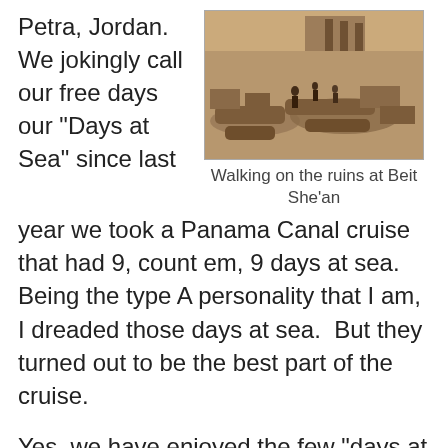Petra, Jordan. We jokingly call our free days our “Days at Sea” since last
[Figure (photo): Black and white or sepia-toned photograph of people walking on ancient ruins at Beit She’an, with large stone columns and rubble visible.]
Walking on the ruins at Beit She’an
year we took a Panama Canal cruise that had 9, count em, 9 days at sea.  Being the type A personality that I am, I dreaded those days at sea.  But they turned out to be the best part of the cruise.
Yes, we have enjoyed the few “days at sea”, but the rest of the time we were running around like maniacs, checking to make sure